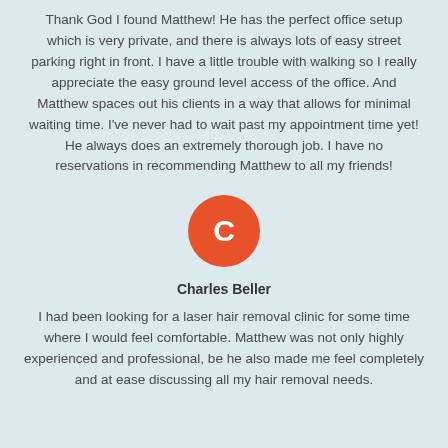Thank God I found Matthew! He has the perfect office setup which is very private, and there is always lots of easy street parking right in front. I have a little trouble with walking so I really appreciate the easy ground level access of the office. And Matthew spaces out his clients in a way that allows for minimal waiting time. I've never had to wait past my appointment time yet! He always does an extremely thorough job. I have no reservations in recommending Matthew to all my friends!
[Figure (illustration): Orange circle avatar with white letter C in the center]
Charles Beller
I had been looking for a laser hair removal clinic for some time where I would feel comfortable. Matthew was not only highly experienced and professional, be he also made me feel completely and at ease discussing all my hair removal needs.